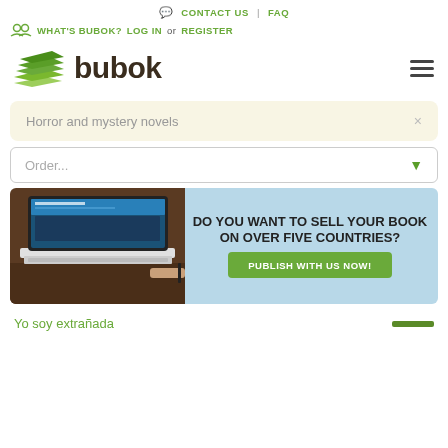CONTACT US | FAQ
WHAT'S BUBOK? LOG IN or REGISTER
[Figure (logo): Bubok logo with stacked green book pages and the word 'bubok' in dark brown, plus hamburger menu icon on the right]
Horror and mystery novels ×
Order...
[Figure (infographic): Banner ad showing a laptop with Bubok website on screen, text 'DO YOU WANT TO SELL YOUR BOOK ON OVER FIVE COUNTRIES?' and a green button 'PUBLISH WITH US NOW!']
Yo soy extrañada